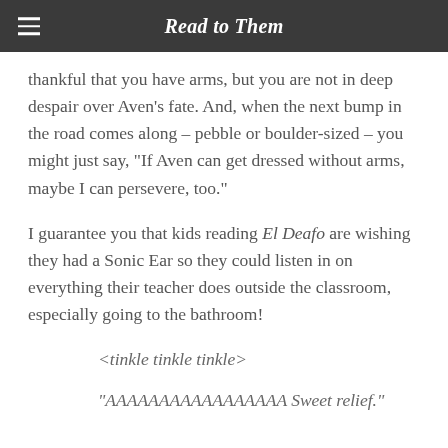Read to Them
thankful that you have arms, but you are not in deep despair over Aven’s fate. And, when the next bump in the road comes along – pebble or boulder-sized – you might just say, “If Aven can get dressed without arms, maybe I can persevere, too.”
I guarantee you that kids reading El Deafo are wishing they had a Sonic Ear so they could listen in on everything their teacher does outside the classroom, especially going to the bathroom!
<tinkle tinkle tinkle>
“AAAAAAAAAAAAAAAAA Sweet relief.”